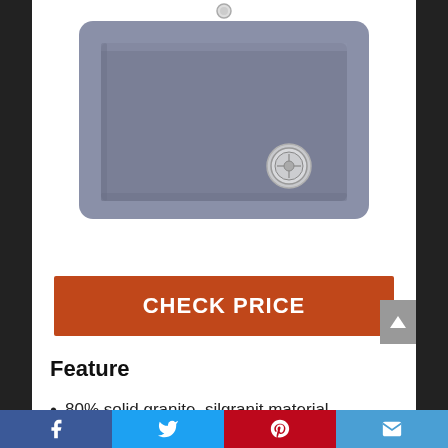[Figure (photo): Gray granite kitchen sink viewed from above, showing single basin with drain, faucet hole at top center, and beveled edges. Slate blue-gray color (silgranit material).]
CHECK PRICE
Feature
80% solid granite, silgranit material